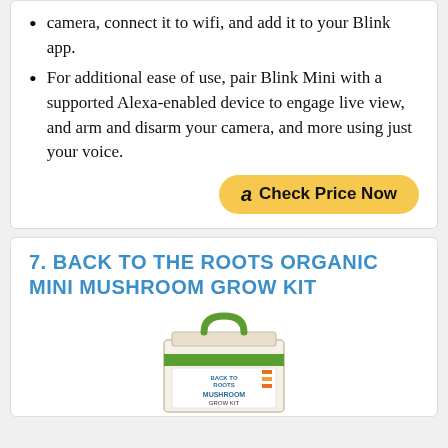camera, connect it to wifi, and add it to your Blink app.
For additional ease of use, pair Blink Mini with a supported Alexa-enabled device to engage live view, and arm and disarm your camera, and more using just your voice.
[Figure (other): Amazon 'Check Price Now' button with Amazon logo]
7. BACK TO THE ROOTS ORGANIC MINI MUSHROOM GROW KIT
[Figure (photo): Back to the Roots Organic Mini Mushroom Grow Kit product box]